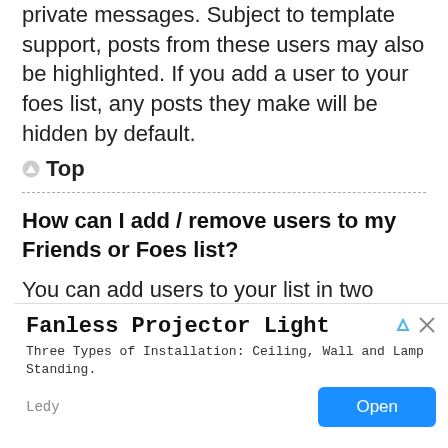private messages. Subject to template support, posts from these users may also be highlighted. If you add a user to your foes list, any posts they make will be hidden by default.
Top
How can I add / remove users to my Friends or Foes list?
You can add users to your list in two ways. Within each
[Figure (other): Advertisement banner for Fanless Projector Light by Ledy with Open button]